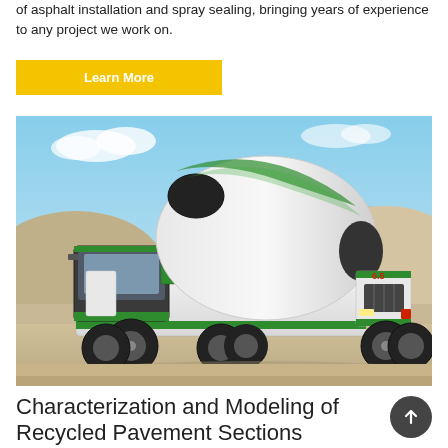of asphalt installation and spray sealing, bringing years of experience to any project we work on.
Learn More
[Figure (photo): A green and white self-loading concrete mixer truck parked on a construction site with gravel mounds and blue sky in the background. The truck has a large rotating drum and the number 6.5 visible on the front.]
Characterization and Modeling of Recycled Pavement Sections